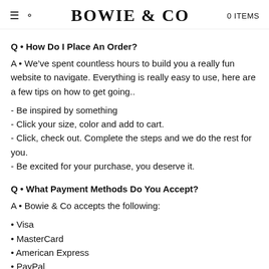BOWIE & CO  0 ITEMS
Q • How Do I Place An Order?
A • We've spent countless hours to build you a really fun website to navigate. Everything is really easy to use, here are a few tips on how to get going..
- Be inspired by something
- Click your size, color and add to cart.
- Click, check out. Complete the steps and we do the rest for you.
- Be excited for your purchase, you deserve it.
Q • What Payment Methods Do You Accept?
A • Bowie & Co accepts the following:
• Visa
• MasterCard
• American Express
• PayPal